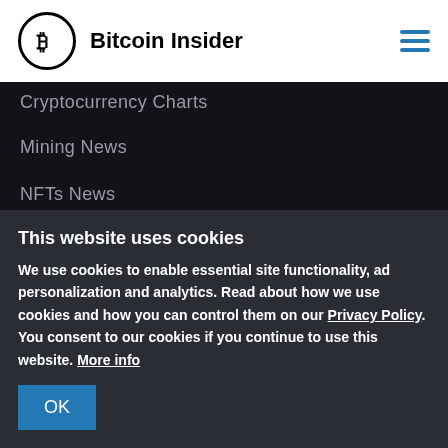Bitcoin Insider
Cryptocurrency Charts
Mining News
NFTs News
Guest posts
Write for us
This website uses cookies
We use cookies to enable essential site functionality, ad personalization and analytics. Read about how we use cookies and how you can control them on our Privacy Policy. You consent to our cookies if you continue to use this website. More info